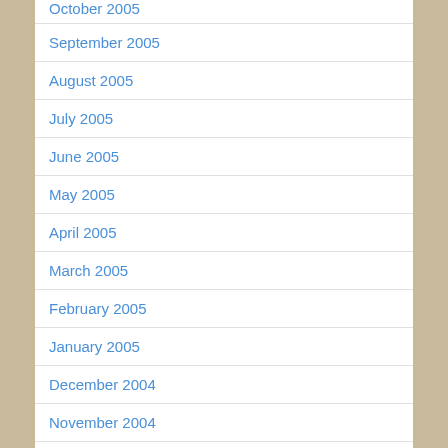October 2005
September 2005
August 2005
July 2005
June 2005
May 2005
April 2005
March 2005
February 2005
January 2005
December 2004
November 2004
October 2004